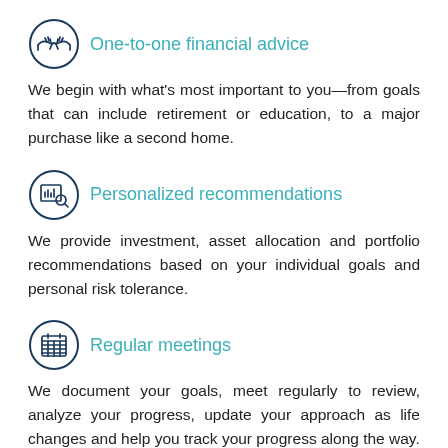[Figure (illustration): Circular icon with two hands shaking (handshake), drawn in dark navy blue outline style]
One-to-one financial advice
We begin with what's most important to you—from goals that can include retirement or education, to a major purchase like a second home.
[Figure (illustration): Circular icon with a bar chart and magnifying glass, drawn in dark navy blue outline style]
Personalized recommendations
We provide investment, asset allocation and portfolio recommendations based on your individual goals and personal risk tolerance.
[Figure (illustration): Circular icon with a calendar grid, drawn in dark navy blue outline style]
Regular meetings
We document your goals, meet regularly to review, analyze your progress, update your approach as life changes and help you track your progress along the way.